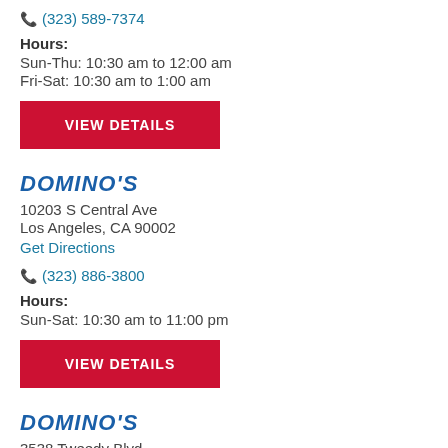(323) 589-7374
Hours: Sun-Thu: 10:30 am to 12:00 am Fri-Sat: 10:30 am to 1:00 am
VIEW DETAILS
DOMINO'S
10203 S Central Ave
Los Angeles, CA 90002
Get Directions
(323) 886-3800
Hours: Sun-Sat: 10:30 am to 11:00 pm
VIEW DETAILS
DOMINO'S
3538 Tweedy Blvd